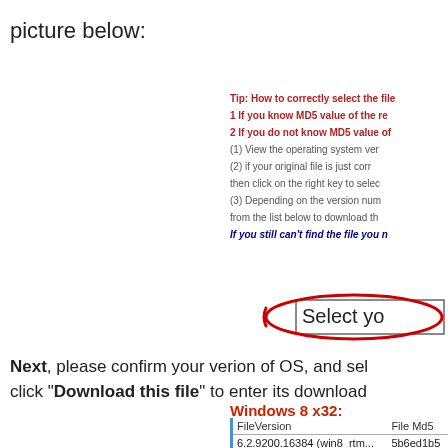picture below:
Tip: How to correctly select the file
1 If you know MD5 value of the re
2 If you do not know MD5 value of
(1) View the operating system ver
(2) if your original file is just corr
then click on the right key to selec
(3) Depending on the version num
from the list below to download th
If you still can't find the file you n
[Figure (screenshot): A dropdown selector button with red oval highlight around 'Select yo' text]
Next, please confirm your verion of OS, and sel click "Download this file" to enter its download
Windows 8 x32:
| FileVersion | File Md5 |
| --- | --- |
| 6.2.9200.16384 (win8_rtm... | 5b6ed1b5 |